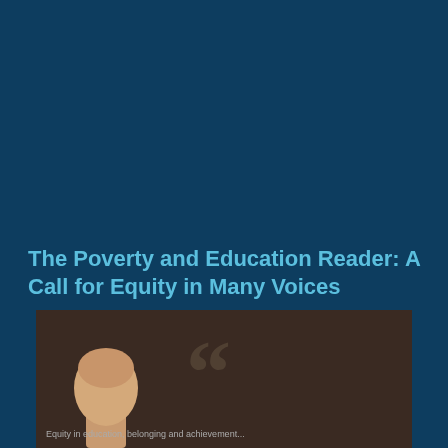The Poverty and Education Reader: A Call for Equity in Many Voices
[Figure (photo): A photograph showing a bald person with large quotation marks in the background, on a dark brown background, partially cropped at the bottom of the page]